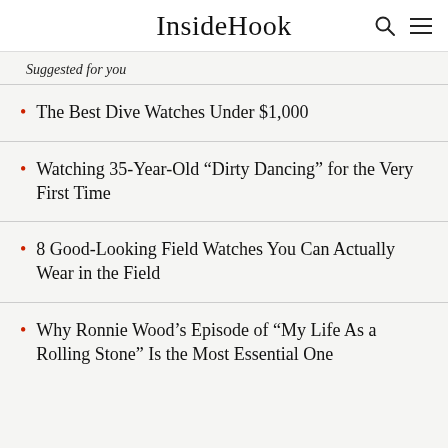InsideHook
Suggested for you
The Best Dive Watches Under $1,000
Watching 35-Year-Old “Dirty Dancing” for the Very First Time
8 Good-Looking Field Watches You Can Actually Wear in the Field
Why Ronnie Wood’s Episode of “My Life As a Rolling Stone” Is the Most Essential One